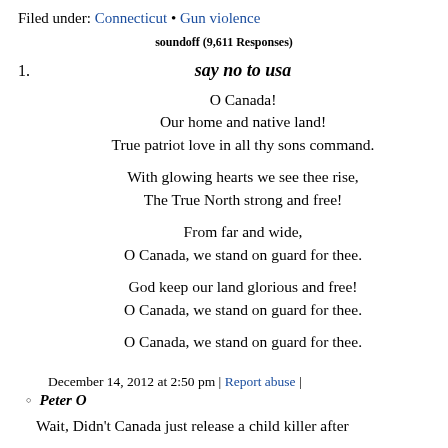Filed under: Connecticut • Gun violence
soundoff (9,611 Responses)
1. say no to usa
O Canada!
Our home and native land!
True patriot love in all thy sons command.

With glowing hearts we see thee rise,
The True North strong and free!

From far and wide,
O Canada, we stand on guard for thee.

God keep our land glorious and free!
O Canada, we stand on guard for thee.

O Canada, we stand on guard for thee.
December 14, 2012 at 2:50 pm | Report abuse |
Peter O
Wait, Didn't Canada just release a child killer after